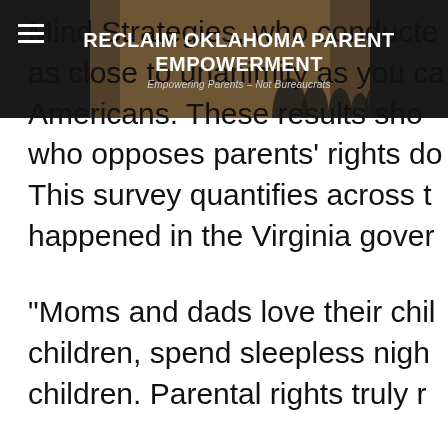RECLAIM OKLAHOMA PARENT EMPOWERMENT
Empowering Parents – Not Bureaucrats
Mind Strategies, who conducted as close to unanimity as you ca Americans. These results show who opposes parents' rights do This survey quantifies across t happened in the Virginia gover
“Moms and dads love their chil children, spend sleepless nigh children. Parental rights truly r